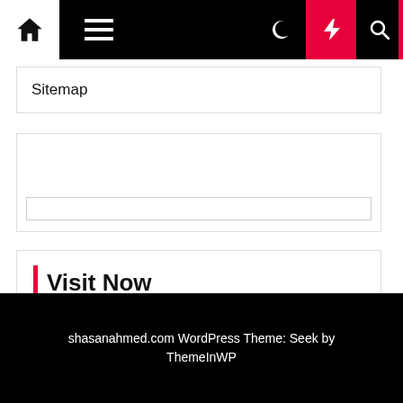Navigation bar with home, hamburger menu, moon, flash, and search icons
Sitemap
[Figure (screenshot): Empty search widget box with a text input field at the bottom]
Visit Now
Health
shasanahmed.com WordPress Theme: Seek by ThemeInWP